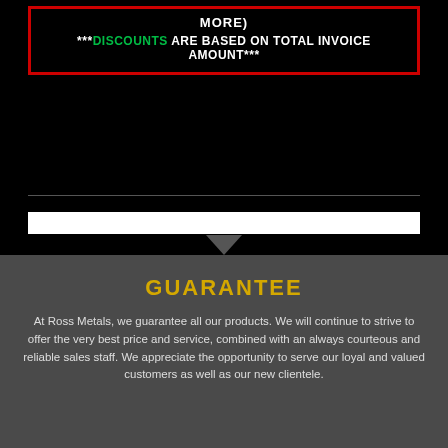MORE)
***DISCOUNTS ARE BASED ON TOTAL INVOICE AMOUNT***
GUARANTEE
At Ross Metals, we guarantee all our products. We will continue to strive to offer the very best price and service, combined with an always courteous and reliable sales staff. We appreciate the opportunity to serve our loyal and valued customers as well as our new clientele.